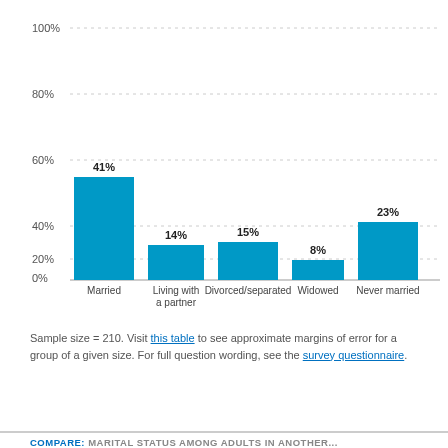[Figure (bar-chart): Marital status among adults]
Sample size = 210. Visit this table to see approximate margins of error for a group of a given size. For full question wording, see the survey questionnaire.
COMPARE: MARITAL STATUS AMONG ADULTS IN ANOTHER...